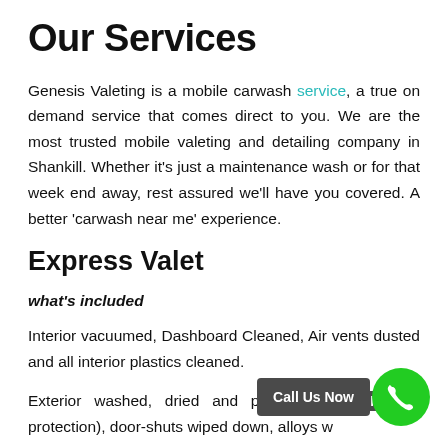Our Services
Genesis Valeting is a mobile carwash service, a true on demand service that comes direct to you. We are the most trusted mobile valeting and detailing company in Shankill. Whether it's just a maintenance wash or for that week end away, rest assured we'll have you covered. A better 'carwash near me' experience.
Express Valet
what's included
Interior vacuumed, Dashboard Cleaned, Air vents dusted and all interior plastics cleaned.
Exterior washed, dried and protected (paint protection), door-shuts wiped down, alloys wheels